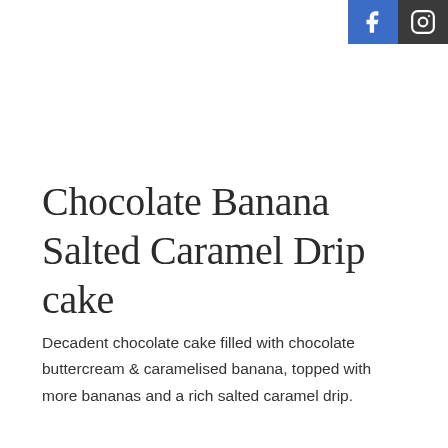[Figure (other): Social media icons: Facebook (blue background) and Instagram (dark background) buttons in the top-right corner]
Chocolate Banana Salted Caramel Drip cake
Decadent chocolate cake filled with chocolate buttercream & caramelised banana, topped with more bananas and a rich salted caramel drip.